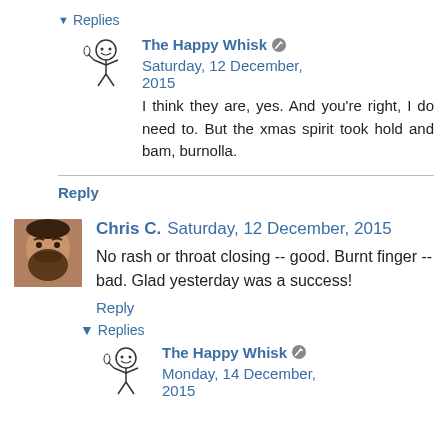▼ Replies
The Happy Whisk [icon] Saturday, 12 December, 2015
I think they are, yes. And you're right, I do need to. But the xmas spirit took hold and bam, burnolla.
Reply
Chris C. Saturday, 12 December, 2015
No rash or throat closing -- good. Burnt finger -- bad. Glad yesterday was a success!
Reply
▼ Replies
The Happy Whisk [icon] Monday, 14 December, 2015